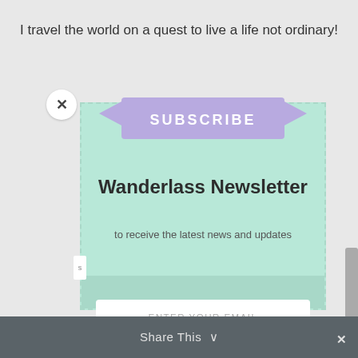I travel the world on a quest to live a life not ordinary!
[Figure (screenshot): Newsletter subscription modal popup with a purple ribbon banner labeled SUBSCRIBE, title 'Wanderlass Newsletter', subtitle 'to receive the latest news and updates', an email input field, and a pink SUBSCRIBE! button]
SUBSCRIBE
Wanderlass Newsletter
to receive the latest news and updates
ENTER YOUR EMAIL
SUBSCRIBE!
Share This ∨